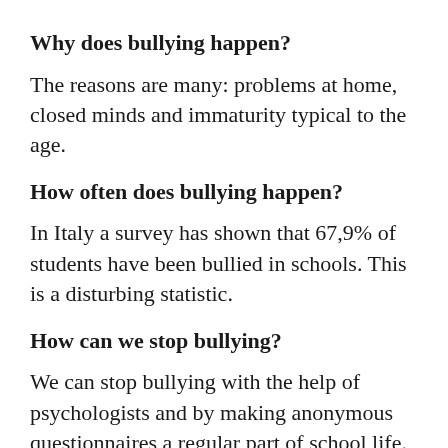Why does bullying happen?
The reasons are many: problems at home, closed minds and immaturity typical to the age.
How often does bullying happen?
In Italy a survey has shown that 67,9% of students have been bullied in schools. This is a disturbing statistic.
How can we stop bullying?
We can stop bullying with the help of psychologists and by making anonymous questionnaires a regular part of school life.
Parents’ roles are as important as those of teachers. Talk to your children and advise them